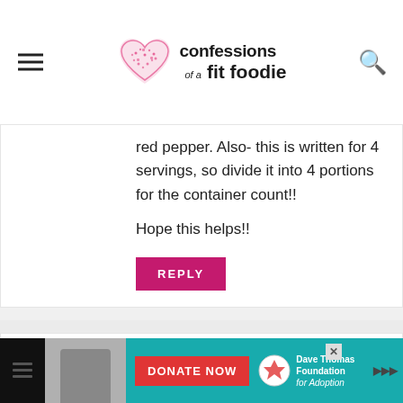confessions of a fit foodie
red pepper. Also- this is written for 4 servings, so divide it into 4 portions for the container count!! Hope this helps!!
REPLY
BRITTANY SAYS
JULY 27, 2015 AT 2:29 PM
How do you count containers after its cooked ? Like when you are serving it?